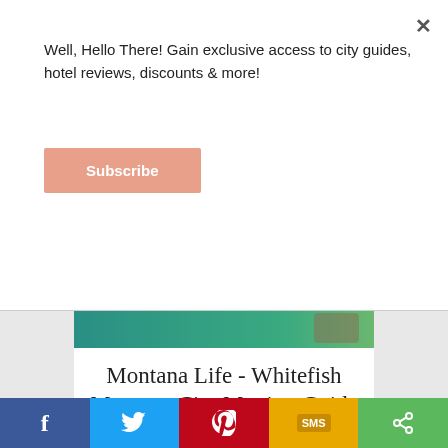Well, Hello There! Gain exclusive access to city guides, hotel reviews, discounts & more!
Subscribe
[Figure (photo): Teal and green aerial photo strip, top of article hero image]
Montana Life - Whitefish Montana City Moving Guide
By Janet Cantrell / Jun 28, 2020 / in Montana
Whitefish Montana surpassed 8,500 residents in 2020 growing over 35% in the
f  [Twitter bird]  [Pinterest P]  SMS  [Share icon]